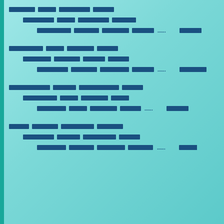Block 1 Line 1 (top level)
Block 1 Line 2 (indent 1)
Block 1 Line 3 (indent 2) ...... xxxxxxx
Block 2 Line 1 (top level)
Block 2 Line 2 (indent 1)
Block 2 Line 3 (indent 2) ...... xxxxxxxxx
Block 3 Line 1 (top level)
Block 3 Line 2 (indent 1)
Block 3 Line 3 (indent 2) ...... xxxxxxx
Block 4 Line 1 (top level)
Block 4 Line 2 (indent 1)
Block 4 Line 3 (indent 2) ...... xxxxxxx